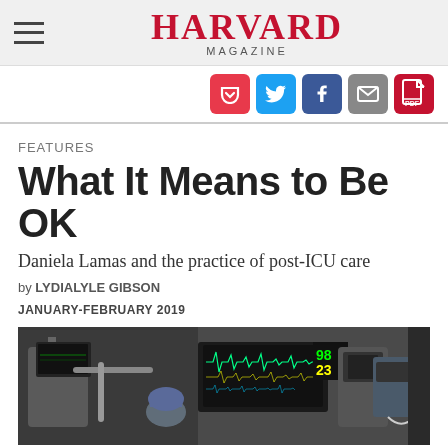HARVARD MAGAZINE
[Figure (screenshot): Social sharing icons: Pocket (red), Twitter (blue), Facebook (dark blue), Email (grey), PDF (red)]
FEATURES
What It Means to Be OK
Daniela Lamas and the practice of post-ICU care
by LYDIALYLE GIBSON
JANUARY-FEBRUARY 2019
[Figure (photo): ICU scene showing medical equipment, monitors displaying vital signs (98, 23), a patient in a hospital bed, and a healthcare worker wearing a blue scrub cap, surrounded by medical devices and IV pumps.]